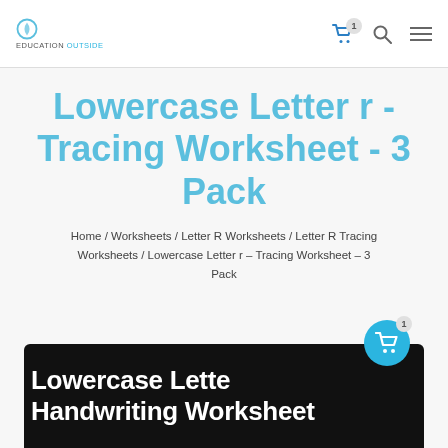Education Outside — header with cart (1), search, and menu icons
Lowercase Letter r - Tracing Worksheet - 3 Pack
Home / Worksheets / Letter R Worksheets / Letter R Tracing Worksheets / Lowercase Letter r – Tracing Worksheet – 3 Pack
[Figure (screenshot): Black banner preview image showing 'Lowercase Letter Handwriting Worksheet' text in white bold font on black background, with a cyan floating cart button overlay]